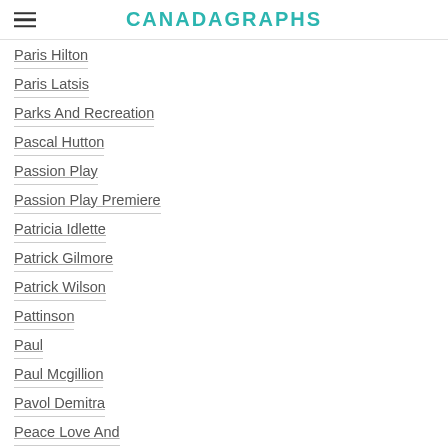CANADAGRAPHS
Paris Hilton
Paris Latsis
Parks And Recreation
Pascal Hutton
Passion Play
Passion Play Premiere
Patricia Idlette
Patrick Gilmore
Patrick Wilson
Pattinson
Paul
Paul Mcgillion
Pavol Demitra
Peace Love And Misunderstandings